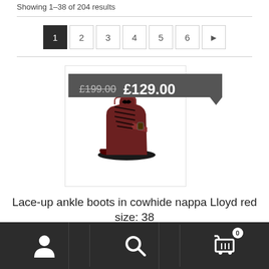Showing 1-38 of 204 results
[Figure (screenshot): Pagination bar showing pages 1 (active/dark), 2, 3, 4, 5, 6, and a next arrow button]
[Figure (photo): Product image: dark red/burgundy lace-up ankle boot with price tag overlay showing original price £199.00 (strikethrough) and sale price £129.00]
Lace-up ankle boots in cowhide nappa Lloyd red size: 38
SALE!
[Figure (screenshot): Mobile bottom navigation bar with user/account icon, search icon, and shopping cart icon with badge showing 0]